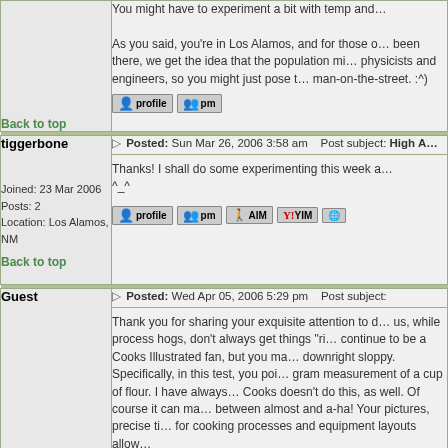You might have to experiment a bit with temp and…

As you said, you're in Los Alamos, and for those of us who have been there, we get the idea that the population might include physicists and engineers, so you might just pose the question to the man-on-the-street. :^)
Back to top
tiggerbone
Posted: Sun Mar 26, 2006 3:58 am    Post subject: High A…
Thanks! I shall do some experimenting this week a…
^_^
Joined: 23 Mar 2006
Posts: 2
Location: Los Alamos, NM
Back to top
Guest
Posted: Wed Apr 05, 2006 5:29 pm    Post subject:
Thank you for sharing your exquisite attention to d… us, while process hogs, don't always get things "ri… continue to be a Cooks Illustrated fan, but you ma… downright sloppy. Specifically, in this test, you poi… gram measurement of a cup of flour. I have always… Cooks doesn't do this, as well. Of course it can ma… between almost and a-ha! Your pictures, precise ti… for cooking processes and equipment layouts allow…